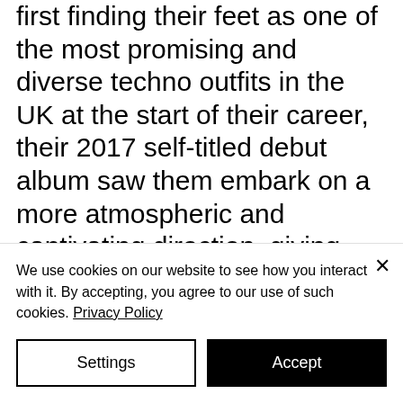first finding their feet as one of the most promising and diverse techno outfits in the UK at the start of their career, their 2017 self-titled debut album saw them embark on a more atmospheric and captivating direction, giving them a whole new aesthetic to explore in the process. And after another couple of years in the wind, they return with 'Isles', a record that sees them continue that broad and shimmering avenue.
We use cookies on our website to see how you interact with it. By accepting, you agree to our use of such cookies. Privacy Policy